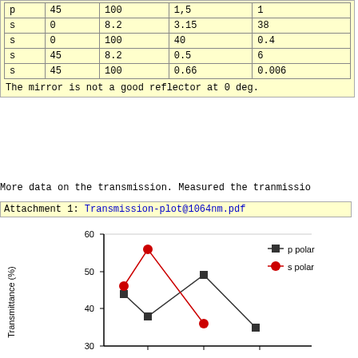|  |  |  |  |  |
| --- | --- | --- | --- | --- |
| p | 45 | 100 | 1,5 | 1 |
| s | 0 | 8.2 | 3.15 | 38 |
| s | 0 | 100 | 40 | 0.4 |
| s | 45 | 8.2 | 0.5 | 6 |
| s | 45 | 100 | 0.66 | 0.006 |
The mirror is not a good reflector at 0 deg.
More data on the transmission. Measured the tranmissio
Attachment 1: Transmission-plot@1064nm.pdf
[Figure (line-chart): Transmittance (%)]